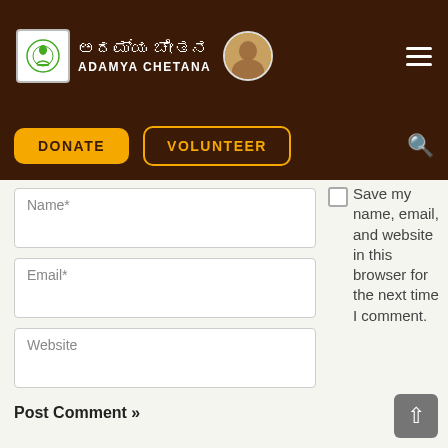Adamya Chetana - website header with logo, Kannada text, navigation buttons: DONATE and VOLUNTEER, and search icon
Name*
Email*
Website
Save my name, email, and website in this browser for the next time I comment.
Post Comment »